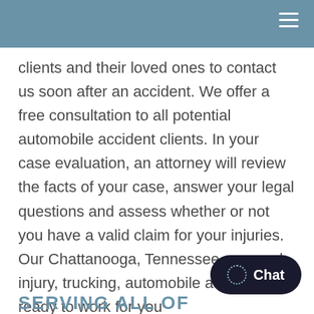clients and their loved ones to contact us soon after an accident. We offer a free consultation to all potential automobile accident clients. In your case evaluation, an attorney will review the facts of your case, answer your legal questions and assess whether or not you have a valid claim for your injuries. Our Chattanooga, Tennessee personal injury, trucking, automobile attorneys are ready to work for you
SERVING ALL OF